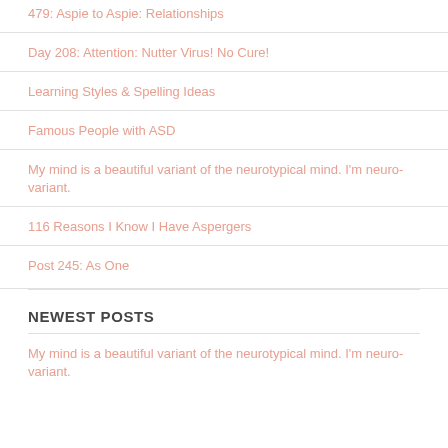479: Aspie to Aspie: Relationships
Day 208: Attention: Nutter Virus! No Cure!
Learning Styles & Spelling Ideas
Famous People with ASD
My mind is a beautiful variant of the neurotypical mind. I'm neuro-variant.
116 Reasons I Know I Have Aspergers
Post 245: As One
NEWEST POSTS
My mind is a beautiful variant of the neurotypical mind. I'm neuro-variant.